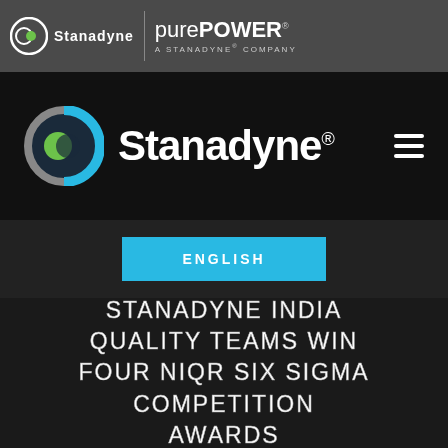[Figure (logo): Stanadyne logo (circle icon with white text) and purePOWER A STANADYNE COMPANY logo in gray top bar]
[Figure (logo): Stanadyne logo with blue/green circle icon and white text on black navigation bar with hamburger menu]
ENGLISH
STANADYNE INDIA QUALITY TEAMS WIN FOUR NIQR SIX SIGMA COMPETITION AWARDS